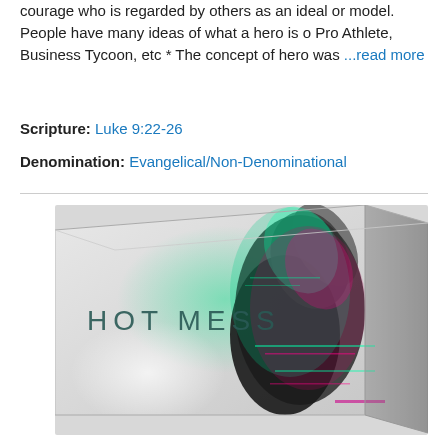courage who is regarded by others as an ideal or model. People have many ideas of what a hero is o Pro Athlete, Business Tycoon, etc * The concept of hero was ...read more
Scripture: Luke 9:22-26
Denomination: Evangelical/Non-Denominational
[Figure (photo): A 3D box product image with glitch-effect artwork showing a figure with long hair and colorful chromatic aberration effects. Text on box reads 'HOT MESS'.]